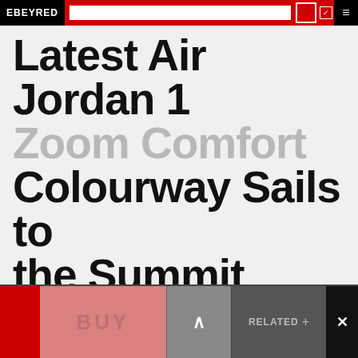EBEYRED
Latest Air Jordan 1 Zoom Comfort Colourway Sails to the Summit
RELEASE: 1 DECEMBER 2020
Colourway: Summit White/Black/Sail/Light Orewood Brown/White
ADD TO CAL